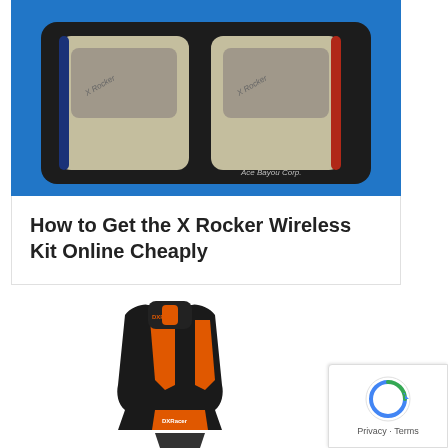[Figure (photo): X Rocker wireless kit remotes in blue and red trim, packaged in a dark tray against a blue background, with 'Ace Bayou Corp.' text visible]
How to Get the X Rocker Wireless Kit Online Cheaply
[Figure (photo): DXRacer gaming chair in black and orange color scheme, shown from the front/side angle]